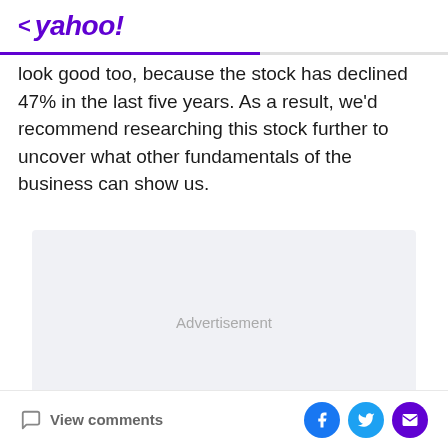< yahoo!
look good too, because the stock has declined 47% in the last five years. As a result, we'd recommend researching this stock further to uncover what other fundamentals of the business can show us.
[Figure (other): Advertisement placeholder box with light gray background]
View comments | Share on Facebook, Twitter, Mail